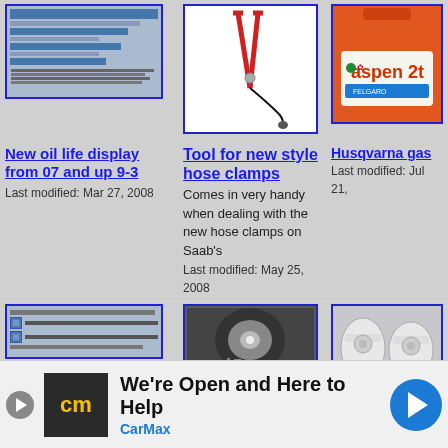[Figure (screenshot): Screenshot of a webpage with blue header bars and text content]
New oil life display from 07 and up 9-3
Last modified: Mar 27, 2008
[Figure (photo): Tool for new style hose clamps - plier-like tool with cable]
Tool for new style hose clamps
Comes in very handy when dealing with the new hose clamps on Saab's
Last modified: May 25, 2008
[Figure (photo): Aspen 2T red fuel canister]
Husqvarna gas
Last modified: Jul 21,
[Figure (screenshot): Screenshot with list items and checkbox icons]
[Figure (photo): Close-up engine cylinder bore photographs]
[Figure (photo): White plastic parts/clips]
[Figure (photo): Advertisement banner - CarMax: We're Open and Here to Help]